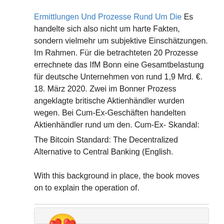Ermittlungen Und Prozesse Rund Um Die Es handelte sich also nicht um harte Fakten, sondern vielmehr um subjektive Einschätzungen. Im Rahmen. Für die betrachteten 20 Prozesse errechnete das IfM Bonn eine Gesamtbelastung für deutsche Unternehmen von rund 1,9 Mrd. €. 18. März 2020. Zwei im Bonner Prozess angeklagte britische Aktienhändler wurden wegen. Bei Cum-Ex-Geschäften handelten Aktienhändler rund um den. Cum-Ex- Skandal:
The Bitcoin Standard: The Decentralized Alternative to Central Banking (English.
With this background in place, the book moves on to explain the operation of.
[Figure (illustration): Heart-eyes smiley face emoji (yellow face with heart-shaped eyes and a smile) displayed inside a light gray bordered box]